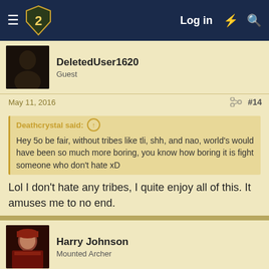Log in
DeletedUser1620
Guest
May 11, 2016  #14
Deathcrystal said: ↑ Hey 5o be fair, without tribes like tli, shh, and nao, world's would have been so much more boring, you know how boring it is fight someone who don't hate xD
Lol I don't hate any tribes, I quite enjoy all of this. It amuses me to no end.
Harry Johnson
Mounted Archer
May 11, 2016  #15
I like how I make one comment about a tribe eating a lot of barbs and now COL freaks out and starts tossing out random